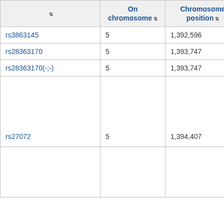|  | On chromosome | Chromosome position | In gene |
| --- | --- | --- | --- |
| rs3863145 | 5 | 1,392,596 | SLC6... |
| rs28363170 | 5 | 1,393,747 | SLC6... |
| rs28363170(-;-) | 5 | 1,393,747 | SLC6... |
| rs27072 | 5 | 1,394,407 | SLC6... |
|  |  |  |  |